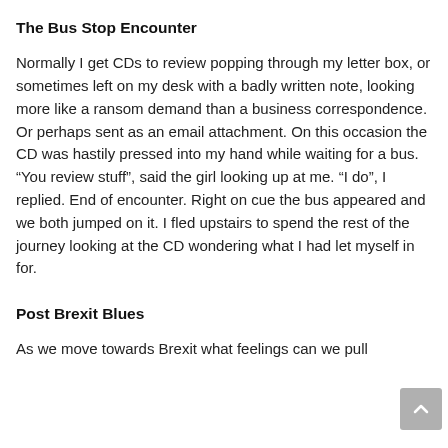The Bus Stop Encounter
Normally I get CDs to review popping through my letter box, or sometimes left on my desk with a badly written note, looking more like a ransom demand than a business correspondence. Or perhaps sent as an email attachment. On this occasion the CD was hastily pressed into my hand while waiting for a bus. “You review stuff”, said the girl looking up at me. “I do”, I replied. End of encounter. Right on cue the bus appeared and we both jumped on it. I fled upstairs to spend the rest of the journey looking at the CD wondering what I had let myself in for.
Post Brexit Blues
As we move towards Brexit what feelings can we pull